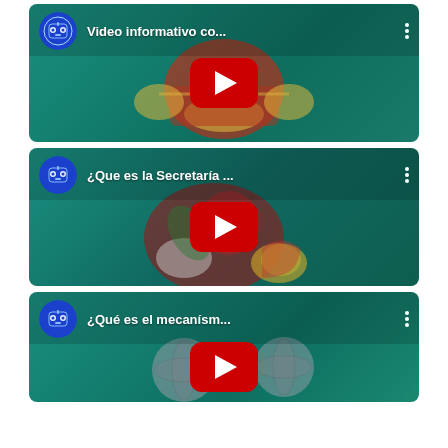[Figure (screenshot): YouTube video thumbnail 1: 'Video informativo co...' with channel icon and play button on teal background]
[Figure (screenshot): YouTube video thumbnail 2: '¿Que es la Secretaría ...' with channel icon and play button on teal background]
[Figure (screenshot): YouTube video thumbnail 3: '¿Qué es el mecanísm...' with channel icon and play button on teal background]